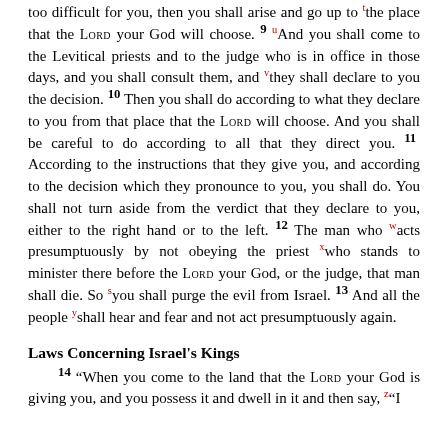too difficult for you, then you shall arise and go up to the place that the LORD your God will choose. 9 And you shall come to the Levitical priests and to the judge who is in office in those days, and you shall consult them, and they shall declare to you the decision. 10 Then you shall do according to what they declare to you from that place that the LORD will choose. And you shall be careful to do according to all that they direct you. 11 According to the instructions that they give you, and according to the decision which they pronounce to you, you shall do. You shall not turn aside from the verdict that they declare to you, either to the right hand or to the left. 12 The man who acts presumptuously by not obeying the priest who stands to minister there before the LORD your God, or the judge, that man shall die. So you shall purge the evil from Israel. 13 And all the people shall hear and fear and not act presumptuously again.
Laws Concerning Israel's Kings
14 "When you come to the land that the LORD your God is giving you, and you possess it and dwell in it and then say, "I